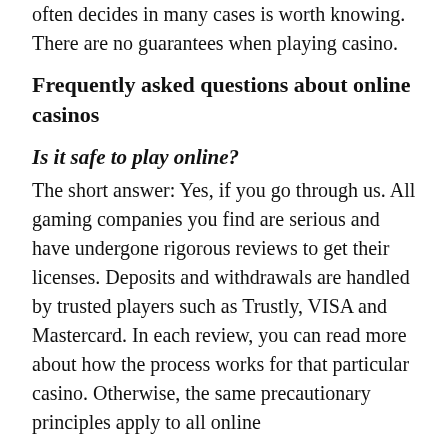often decides in many cases is worth knowing. There are no guarantees when playing casino.
Frequently asked questions about online casinos
Is it safe to play online?
The short answer: Yes, if you go through us. All gaming companies you find are serious and have undergone rigorous reviews to get their licenses. Deposits and withdrawals are handled by trusted players such as Trustly, VISA and Mastercard. In each review, you can read more about how the process works for that particular casino. Otherwise, the same precautionary principles apply to all online